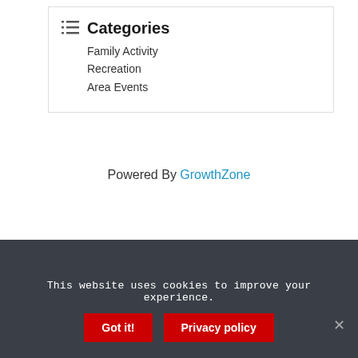Categories
Family Activity
Recreation
Area Events
Powered By GrowthZone
This website uses cookies to improve your experience.